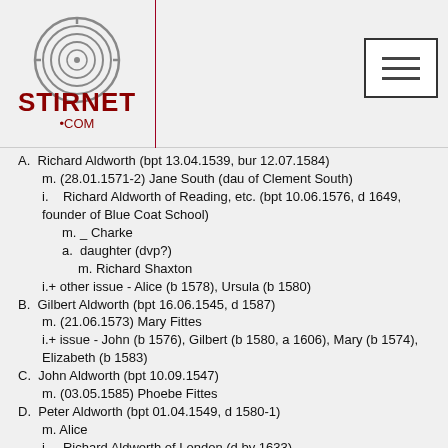Stirnet.com logo and navigation
A. Richard Aldworth (bpt 13.04.1539, bur 12.07.1584)
m. (28.01.1571-2) Jane South (dau of Clement South)
i. Richard Aldworth of Reading, etc. (bpt 10.06.1576, d 1649, founder of Blue Coat School)
m. _ Charke
a. daughter (dvp?)
m. Richard Shaxton
i.+ other issue - Alice (b 1578), Ursula (b 1580)
B. Gilbert Aldworth (bpt 16.06.1545, d 1587)
m. (21.06.1573) Mary Fittes
i.+ issue - John (b 1576), Gilbert (b 1580, a 1606), Mary (b 1574), Elizabeth (b 1583)
C. John Aldworth (bpt 10.09.1547)
m. (03.05.1585) Phoebe Fittes
D. Peter Aldworth (bpt 01.04.1549, d 1580-1)
m. Alice
i. Richard Aldworth of London (d by 1633)
m. Margaret (Coulson?)
a.+issue - Richard (a 1624), Susan, Elizabeth, Margaret, Frances